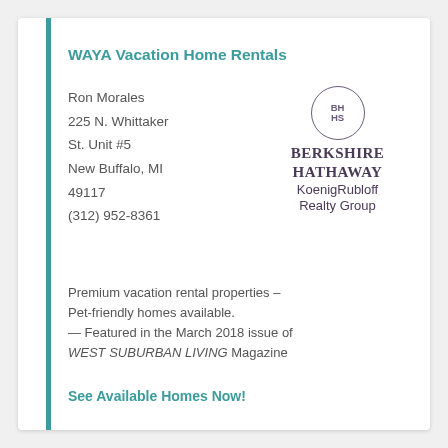WAYA Vacation Home Rentals
Ron Morales
225 N. Whittaker
St. Unit #5
New Buffalo, MI
49117
(312) 952-8361
[Figure (logo): Berkshire Hathaway KoenigRubloff Realty Group logo with BH HS circular emblem]
Premium vacation rental properties – Pet-friendly homes available.
— Featured in the March 2018 issue of WEST SUBURBAN LIVING Magazine
See Available Homes Now!